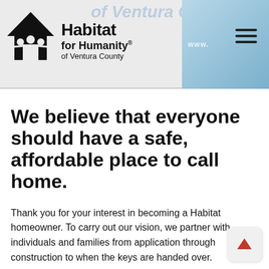[Figure (logo): Habitat for Humanity of Ventura County logo with house and people icon]
We believe that everyone should have a safe, affordable place to call home.
Thank you for your interest in becoming a Habitat homeowner. To carry out our vision, we partner with individuals and families from application through construction to when the keys are handed over.
By working with us from beginning to end, we can help prospective individuals prepare for the various responsibilities of homeownership, including learning about